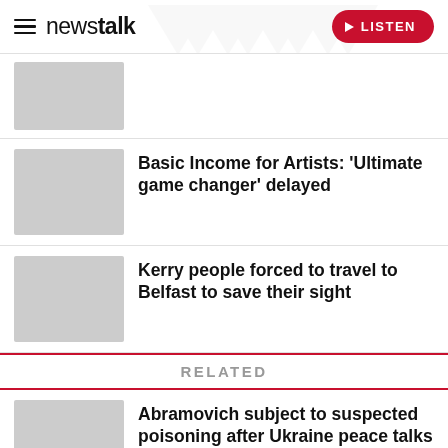newstalk — LISTEN
[Figure (photo): Gray placeholder thumbnail image (top article)]
Basic Income for Artists: 'Ultimate game changer' delayed
[Figure (photo): Gray placeholder thumbnail image (middle article)]
Kerry people forced to travel to Belfast to save their sight
RELATED
[Figure (photo): Gray placeholder thumbnail image (bottom article)]
Abramovich subject to suspected poisoning after Ukraine peace talks